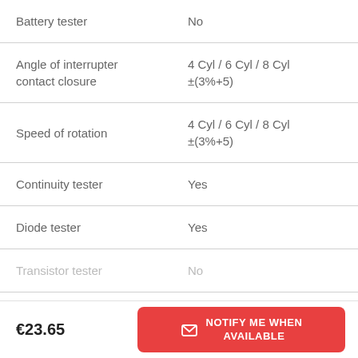| Feature | Value |
| --- | --- |
| Battery tester | No |
| Angle of interrupter contact closure | 4 Cyl / 6 Cyl / 8 Cyl
±(3%+5) |
| Speed of rotation | 4 Cyl / 6 Cyl / 8 Cyl
±(3%+5) |
| Continuity tester | Yes |
| Diode tester | Yes |
| Transistor tester | No |
€23.65
NOTIFY ME WHEN AVAILABLE